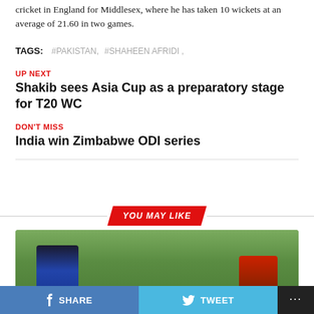cricket in England for Middlesex, where he has taken 10 wickets at an average of 21.60 in two games.
TAGS:  #PAKISTAN ,  #SHAHEEN AFRIDI ,
UP NEXT
Shakib sees Asia Cup as a preparatory stage for T20 WC
DON'T MISS
India win Zimbabwe ODI series
YOU MAY LIKE
[Figure (photo): Cricket match photo showing two players on a green field, one in blue/dark uniform and one in red uniform, both in crouching positions]
SHARE   TWEET   ...